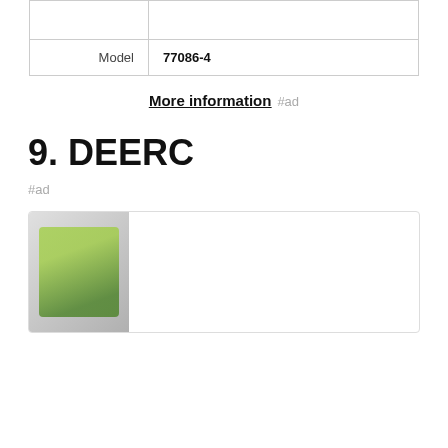| Model | 77086-4 |
More information #ad
9. DEERC
#ad
[Figure (photo): Product image box showing a green RC drone/car toy, partially visible. A cookie consent overlay reads: As an Amazon Associate I earn from qualifying purchases. This website uses the only necessary cookies to ensure you get the best experience on our website. More information]
As an Amazon Associate I earn from qualifying purchases. This website uses the only necessary cookies to ensure you get the best experience on our website. More information